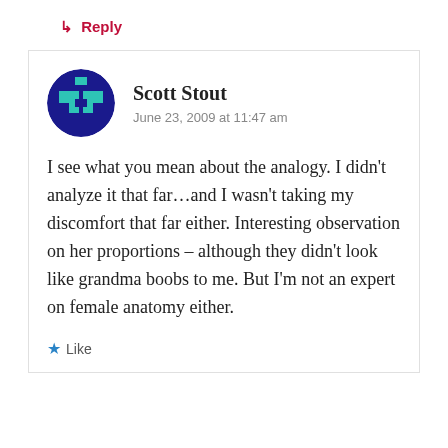↳ Reply
[Figure (illustration): Circular avatar for user Scott Stout — blue and teal geometric/pixel pattern on dark blue background]
Scott Stout
June 23, 2009 at 11:47 am
I see what you mean about the analogy. I didn't analyze it that far…and I wasn't taking my discomfort that far either. Interesting observation on her proportions – although they didn't look like grandma boobs to me. But I'm not an expert on female anatomy either.
★ Like